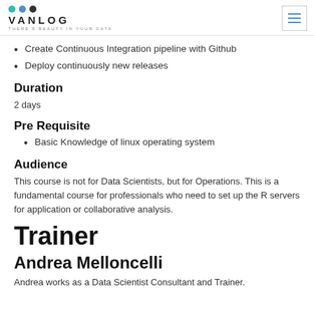VANLOG — THERE'S BEAUTY IN YOUR DATA
Create Continuous Integration pipeline with Github
Deploy continuously new releases
Duration
2 days
Pre Requisite
Basic Knowledge of linux operating system
Audience
This course is not for Data Scientists, but for Operations. This is a fundamental course for professionals who need to set up the R servers for application or collaborative analysis.
Trainer
Andrea Melloncelli
Andrea works as a Data Scientist Consultant and Trainer.